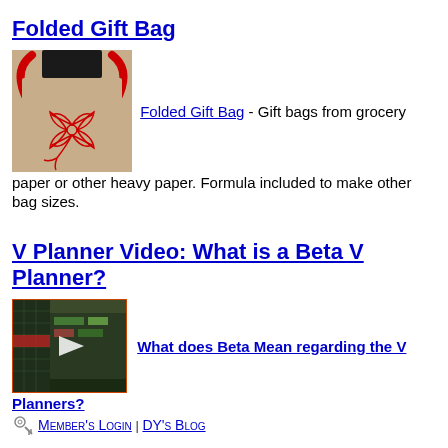Folded Gift Bag
[Figure (photo): Photo of a folded gift bag made from grocery paper with red handles and a decorative red embroidered flower/leaf design on front]
Folded Gift Bag - Gift bags from grocery paper or other heavy paper. Formula included to make other bag sizes.
V Planner Video: What is a Beta V Planner?
[Figure (screenshot): Video thumbnail showing a screen recording with a play button, depicting a spreadsheet/planner application interface]
What does Beta Mean regarding the V Planners?
Member's Login | DY's Blog